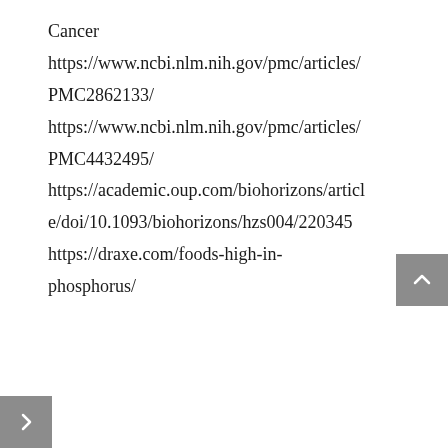Cancer
https://www.ncbi.nlm.nih.gov/pmc/articles/PMC2862133/
https://www.ncbi.nlm.nih.gov/pmc/articles/PMC4432495/
https://academic.oup.com/biohorizons/article/doi/10.1093/biohorizons/hzs004/220345
https://draxe.com/foods-high-in-phosphorus/